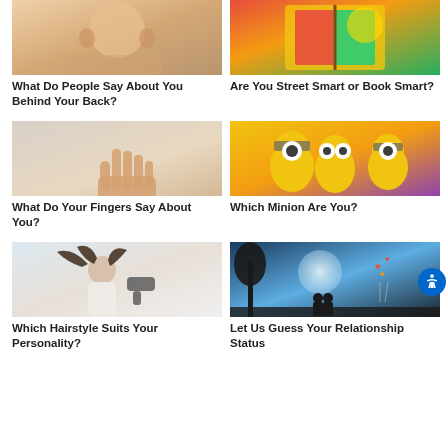[Figure (photo): Woman covering face with hands, wearing necklace]
What Do People Say About You Behind Your Back?
[Figure (photo): Child reading a book with colorful cover]
Are You Street Smart or Book Smart?
[Figure (photo): Open hand raised against light gray background]
What Do Your Fingers Say About You?
[Figure (photo): Three Minion characters from animated film looking surprised]
Which Minion Are You?
[Figure (photo): Person in bathrobe blow-drying hair wildly]
Which Hairstyle Suits Your Personality?
[Figure (photo): Romantic silhouette scene with moon, tree, balloons and couple]
Let Us Guess Your Relationship Status